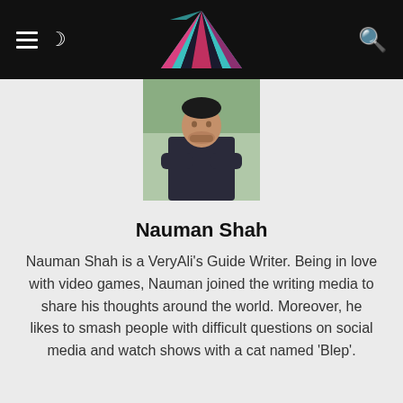VeryAli website header with hamburger menu, moon icon, logo, and search icon
[Figure (photo): Profile photo of Nauman Shah, a young man in a dark sweater with arms crossed, standing outdoors]
Nauman Shah
Nauman Shah is a VeryAli's Guide Writer. Being in love with video games, Nauman joined the writing media to share his thoughts around the world. Moreover, he likes to smash people with difficult questions on social media and watch shows with a cat named 'Blep'.